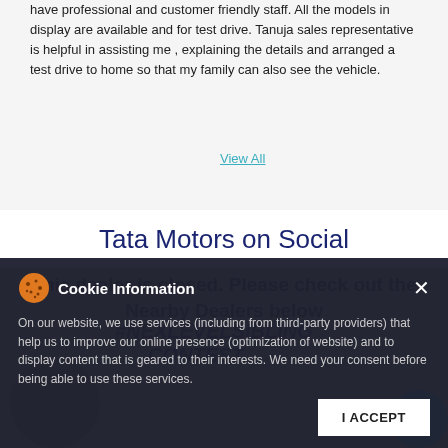have professional and customer friendly staff. All the models in display are available and for test drive. Tanuja sales representative is helpful in assisting me , explaining the details and arranged a test drive to home so that my family can also see the vehicle.
SUBMIT A REVIEW
View All
Tata Motors on Social
This dealer is closed. Please check out the Nearby Dealers below
Cookie Information
On our website, we use services (including from third-party providers) that help us to improve our online presence (optimization of website) and to display content that is geared to their interests. We need your consent before being able to use these services.
#NEXLEVELSIBLING CONTEST
I ACCEPT